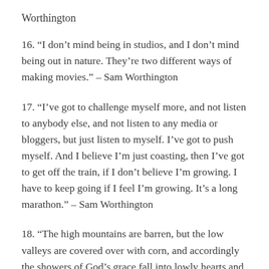Worthington
16. “I don’t mind being in studios, and I don’t mind being out in nature. They’re two different ways of making movies.” – Sam Worthington
17. “I’ve got to challenge myself more, and not listen to anybody else, and not listen to any media or bloggers, but just listen to myself. I’ve got to push myself. And I believe I’m just coasting, then I’ve got to get off the train, if I don’t believe I’m growing. I have to keep going if I feel I’m growing. It’s a long marathon.” – Sam Worthington
18. “The high mountains are barren, but the low valleys are covered over with corn, and accordingly the showers of God’s grace fall into lowly hearts and humble souls.” – Sam Worthington